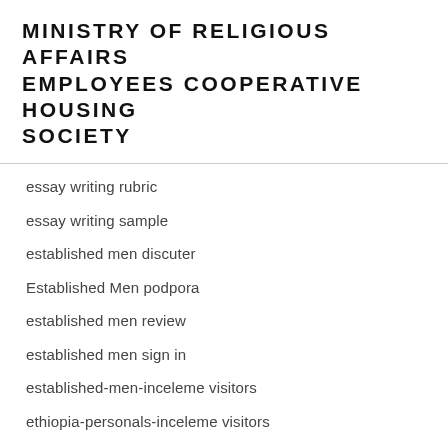MINISTRY OF RELIGIOUS AFFAIRS EMPLOYEES COOPERATIVE HOUSING SOCIETY
essay writing rubric
essay writing sample
established men discuter
Established Men podpora
established men review
established men sign in
established-men-inceleme visitors
ethiopia-personals-inceleme visitors
EthiopianPersonals visitors
Eugene+OR+Oregon go to this web site